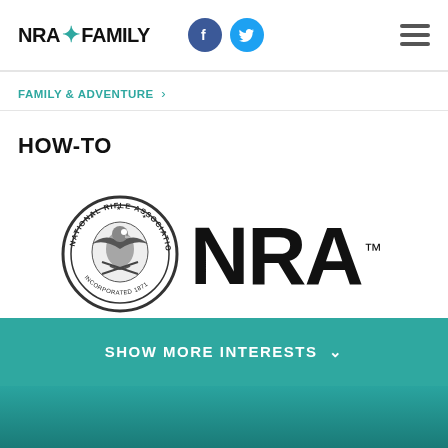[Figure (logo): NRA Family logo with teal star/asterisk between NRA and FAMILY text, with Facebook and Twitter social icons, and hamburger menu icon on the right]
FAMILY & ADVENTURE →
HOW-TO
[Figure (logo): NRA National Rifle Association circular seal logo alongside large bold NRA text with TM mark]
SHOW MORE INTERESTS ∨